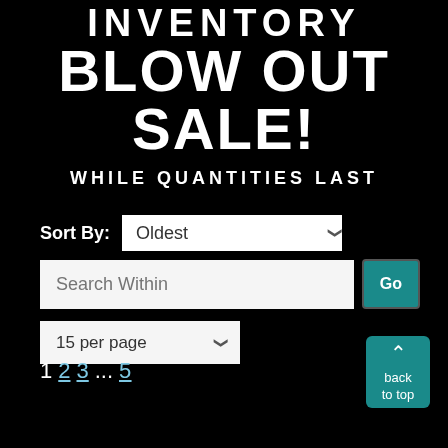INVENTORY BLOW OUT SALE!
WHILE QUANTITIES LAST
Sort By: Oldest
Search Within  Go
15 per page
1 2 3 ... 5
back to top